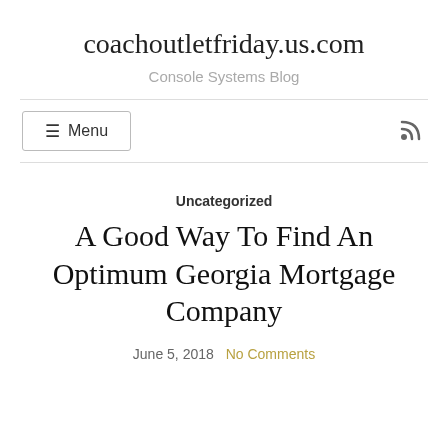coachoutletfriday.us.com
Console Systems Blog
☰ Menu
Uncategorized
A Good Way To Find An Optimum Georgia Mortgage Company
June 5, 2018   No Comments